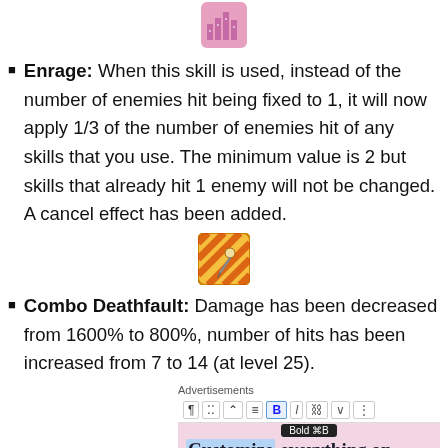[Figure (illustration): Small pixel-art game icon for Enrage skill — appears to be a pink/purple icon with bar chart symbols]
Enrage: When this skill is used, instead of the number of enemies hit being fixed to 1, it will now apply 1/3 of the number of enemies hit of any skills that you use. The minimum value is 2 but skills that already hit 1 enemy will not be changed. A cancel effect has been added.
[Figure (illustration): Small pixel-art game icon for Combo Deathfault skill — red/yellow diagonal striped icon with a needle or pin]
Combo Deathfault: Damage has been decreased from 1600% to 800%, number of hits has been increased from 7 to 14 (at level 25).
Advertisements
[Figure (screenshot): Advertisement screenshot showing a WordPress block editor toolbar with Bold button active and tooltip, over pink background with text 'Customize everything on your site with the new Site Editor']